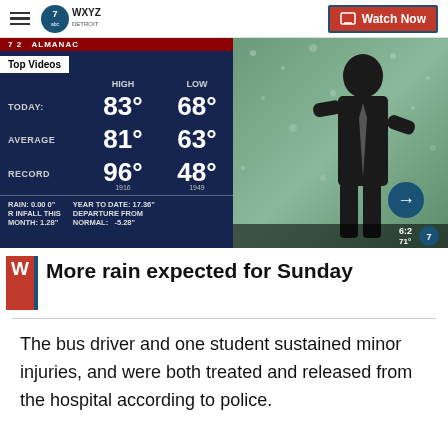WXYZ Detroit — Watch Now
[Figure (screenshot): Weather almanac TV screenshot showing Today HIGH 83° LOW 68°, AVERAGE 81° 63°, RECORD 96° (1916) 48° (1949), RAIN: 0.00 0", YEAR TO DATE: 17.36", R INFALL THIS MONTH: 1.28", DEPARTURE FROM NORMAL: -5.28". A weatherman stands on the right side against a rainy background. Top Videos badge visible.]
More rain expected for Sunday
The bus driver and one student sustained minor injuries, and were both treated and released from the hospital according to police.